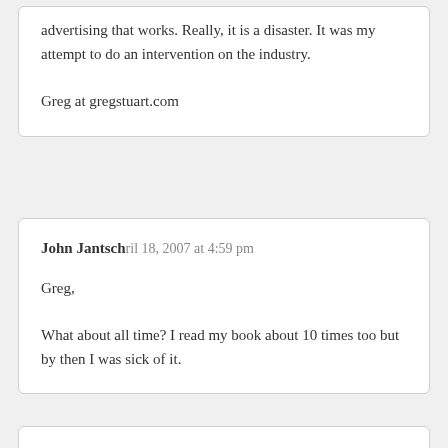advertising that works. Really, it is a disaster. It was my attempt to do an intervention on the industry.

Greg at gregstuart.com
John Jantsch April 18, 2007 at 4:59 pm

Greg,

What about all time? I read my book about 10 times too but by then I was sick of it.